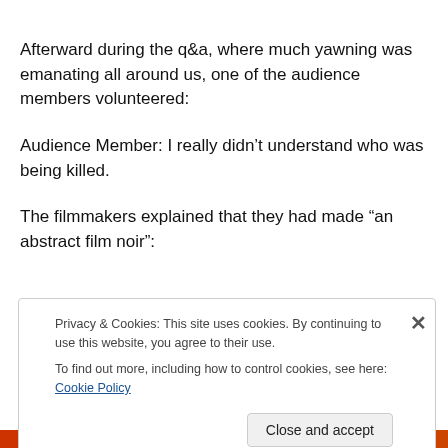Afterward during the q&a, where much yawning was emanating all around us, one of the audience members volunteered:
Audience Member: I really didn’t understand who was being killed.
The filmmakers explained that they had made “an abstract film noir”:
Privacy & Cookies: This site uses cookies. By continuing to use this website, you agree to their use.
To find out more, including how to control cookies, see here: Cookie Policy
Close and accept